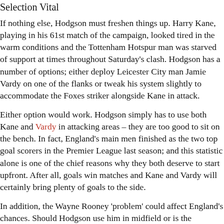Selection Vital
If nothing else, Hodgson must freshen things up. Harry Kane, playing in his 61st match of the campaign, looked tired in the warm conditions and the Tottenham Hotspur man was starved of support at times throughout Saturday's clash. Hodgson has a number of options; either deploy Leicester City man Jamie Vardy on one of the flanks or tweak his system slightly to accommodate the Foxes striker alongside Kane in attack.
Either option would work. Hodgson simply has to use both Kane and Vardy in attacking areas – they are too good to sit on the bench. In fact, England's main men finished as the two top goal scorers in the Premier League last season; and this statistic alone is one of the chief reasons why they both deserve to start upfront. After all, goals win matches and Kane and Vardy will certainly bring plenty of goals to the side.
In addition, the Wayne Rooney 'problem' could affect England's chances. Should Hodgson use him in midfield or is the Manchester United man more effective in an advanced role? Everybody has their own opinion but Rooney's performance against Russia showed that he is able to hold his own in midfield. The England captain stepped up to the plate and his presence was sorely missed in the latter stages after he was replaced by Jack Wilshere.